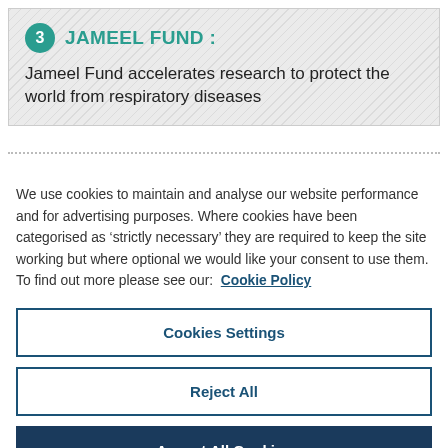3 JAMEEL FUND :
Jameel Fund accelerates research to protect the world from respiratory diseases
We use cookies to maintain and analyse our website performance and for advertising purposes. Where cookies have been categorised as ‘strictly necessary’ they are required to keep the site working but where optional we would like your consent to use them. To find out more please see our: Cookie Policy
Cookies Settings
Reject All
Accept All Cookies